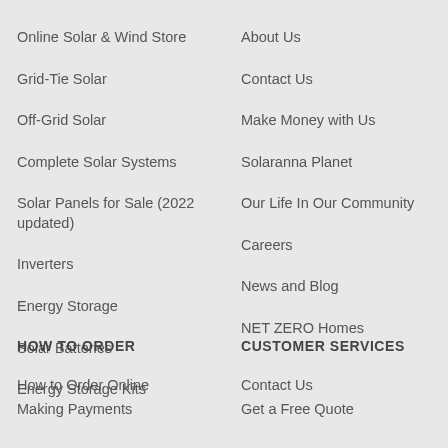Online Solar & Wind Store
About Us
Grid-Tie Solar
Contact Us
Off-Grid Solar
Make Money with Us
Complete Solar Systems
Solaranna Planet
Solar Panels for Sale (2022 updated)
Our Life In Our Community
Inverters
Careers
Energy Storage
News and Blog
Solar Batteries
NET ZERO Homes
Energy Storage Kits
HOW TO ORDER
CUSTOMER SERVICES
How to Order Online
Contact Us
Making Payments
Get a Free Quote